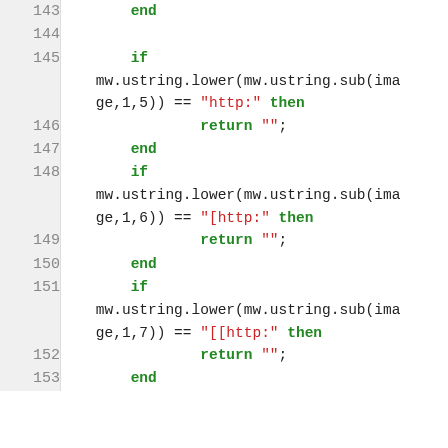Code listing lines 143-153 showing Lua code with if statements checking mw.ustring.lower(mw.ustring.sub(image,1,5/6/7)) == http/[http:/[[http: then return '' end blocks